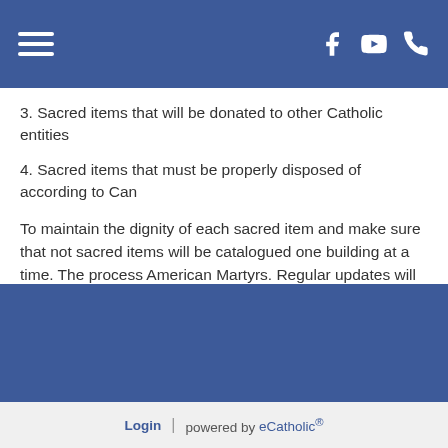Navigation header with hamburger menu and social icons (Facebook, YouTube, Phone)
3. Sacred items that will be donated to other Catholic entities
4. Sacred items that must be properly disposed of according to Can
To maintain the dignity of each sacred item and make sure that not sacred items will be catalogued one building at a time. The process American Martyrs. Regular updates will be provided as the process
Finally, please note that given the sheer number of sacred items fro buildings, it is impossible for us to relocate all items to one of our t please know that there will be sacred items from each of the four fo will be relocated to our current church buildings. In this way, we wil both the history and devotion from all our former churches.
Login | powered by eCatholic®